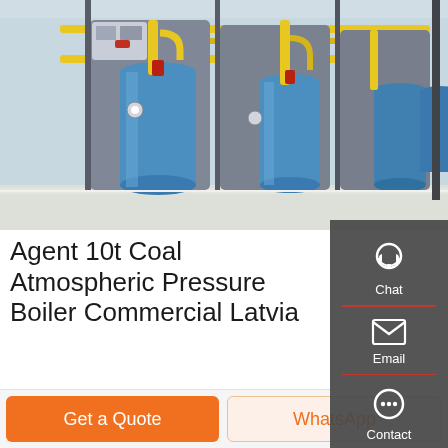[Figure (photo): Industrial boiler room with large blue cylindrical tanks, yellow pipes, and gray boiler units in a clean industrial facility.]
Agent 10t Coal Atmospheric Pressure Boiler Commercial Latvia
1 Ton Oil Boiler Machine Industrial Seller Latvia For Sale 10t Coal Condensing Boiler Azerbaijan. 10t boiler Sell Steam Boiler Sitong Boiler-Thermal Oil heater. 15 ton gas fired used in food plant Industrial 20t Oil Russia Hot Water Our oil/gas
Get a Quote
WhatsApp